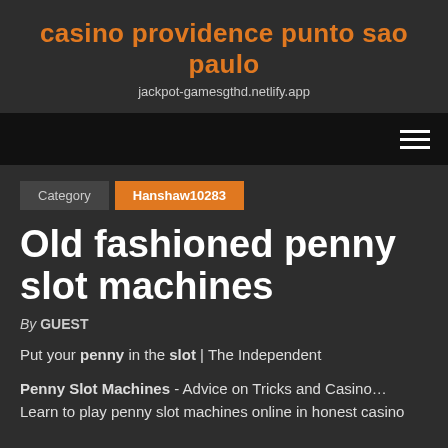casino providence punto sao paulo
jackpot-gamesgthd.netlify.app
[Figure (other): Navigation bar with hamburger menu icon (three horizontal lines) on dark/black background]
Category   Hanshaw10283
Old fashioned penny slot machines
By GUEST
Put your penny in the slot | The Independent
Penny Slot Machines - Advice on Tricks and Casino… Learn to play penny slot machines online in honest casino